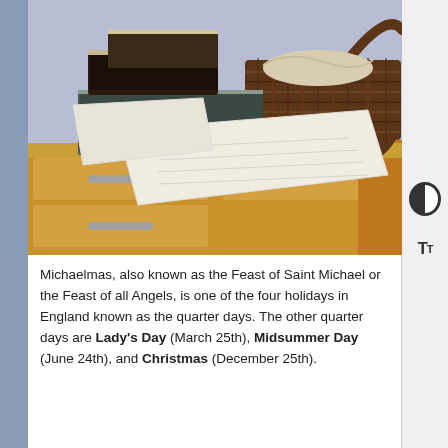[Figure (photo): Photograph of a pile of old worn books, loose papers, and a wicker basket on top of a wooden chest of drawers with metal handles.]
Michaelmas, also known as the Feast of Saint Michael or the Feast of all Angels, is one of the four holidays in England known as the quarter days. The other quarter days are Lady's Day (March 25th), Midsummer Day (June 24th), and Christmas (December 25th).